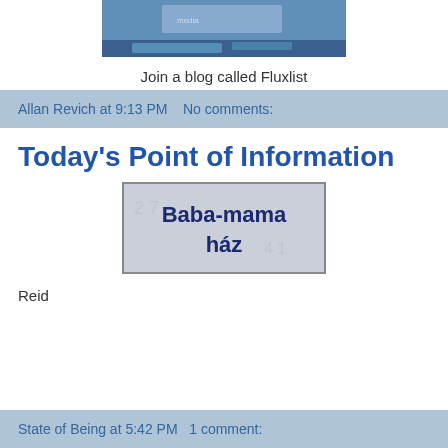[Figure (screenshot): Top portion of a screenshot showing a blue-toned image, partially cropped at the top]
Join a blog called Fluxlist
Allan Revich at 9:13 PM   No comments:
Today's Point of Information
[Figure (photo): Sign reading 'Baba-mama ház' in dark blue bold text on a light grey background]
Reid
State of Being at 5:42 PM   1 comment: